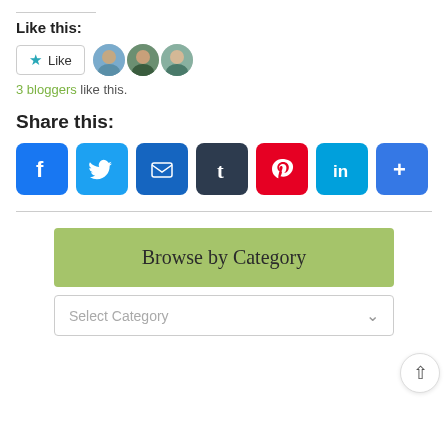Like this:
[Figure (infographic): Like button with star icon and three blogger avatar profile photos]
3 bloggers like this.
Share this:
[Figure (infographic): Social share icon buttons: Facebook, Twitter, Email, Tumblr, Pinterest, LinkedIn, More]
Browse by Category
Select Category